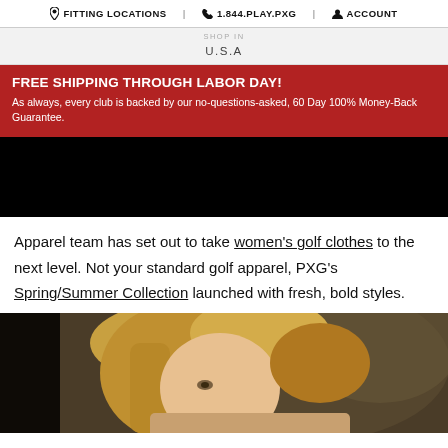FITTING LOCATIONS | 1.844.PLAY.PXG | ACCOUNT
U.S.A
FREE SHIPPING THROUGH LABOR DAY! As always, every club is backed by our no-questions-asked, 60 Day 100% Money-Back Guarantee.
[Figure (photo): Dark/black hero image area]
Apparel team has set out to take women's golf clothes to the next level. Not your standard golf apparel, PXG's Spring/Summer Collection launched with fresh, bold styles.
[Figure (photo): Close-up photo of a blonde woman, partial face visible, outdoor/dark background]